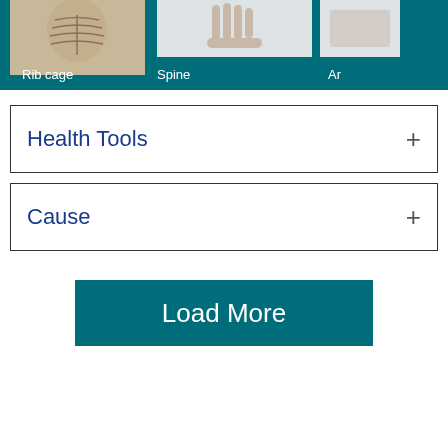[Figure (photo): Medical website screenshot showing anatomical image cards for Rib cage, Spine, and a partially visible third card on a teal background]
Rib cage
Spine
Ar
Health Tools
Cause
Load More